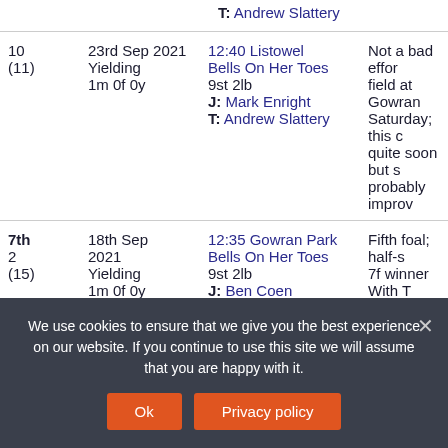T: Andrew Slattery
| Pos | Date | Race | Comment |
| --- | --- | --- | --- |
| 10
(11) | 23rd Sep 2021
Yielding
1m 0f 0y | 12:40 Listowel
Bells On Her Toes
9st 2lb
J: Mark Enright
T: Andrew Slattery | Not a bad effor...
field at Gowran...
Saturday; this c...
quite soon but s...
probably improv... |
| 7th
2
(15) | 18th Sep
2021
Yielding
1m 0f 0y | 12:35 Gowran Park
Bells On Her Toes
9st 2lb
J: Ben Coen | Fifth foal; half-s...
7f winner With T...
(inc at 2/Group ...
113); dam unrac... |
We use cookies to ensure that we give you the best experience on our website. If you continue to use this site we will assume that you are happy with it.